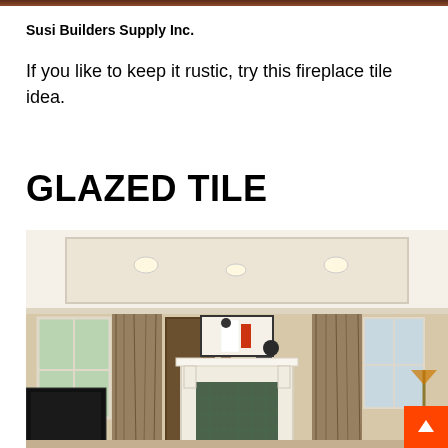[Figure (photo): Partial top-of-page decorative image strip showing a rustic fireplace tile scene]
Susi Builders Supply Inc.
If you like to keep it rustic, try this fireplace tile idea.
GLAZED TILE
[Figure (photo): Interior living room photo showing a white fireplace surround with glazed green brick tiles, framed artwork above the mantel, patterned drapes on either side, a TV on the left, and a floor lamp on the right. An orange scroll-to-top button is visible in the bottom right corner.]